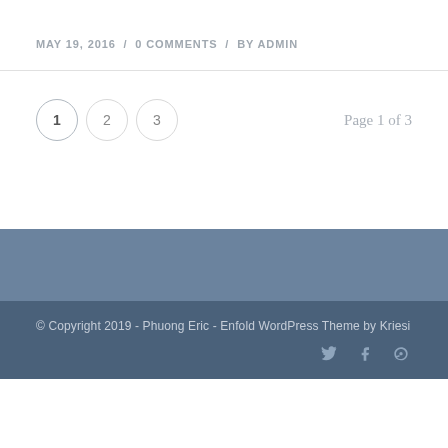MAY 19, 2016 / 0 COMMENTS / BY ADMIN
1  2  3   Page 1 of 3
© Copyright 2019 - Phuong Eric - Enfold WordPress Theme by Kriesi